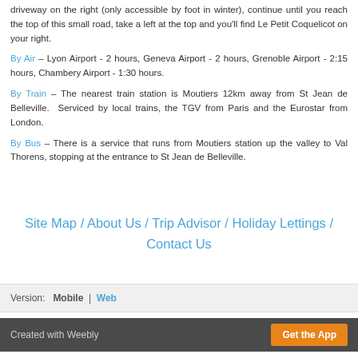driveway on the right (only accessible by foot in winter), continue until you reach the top of this small road, take a left at the top and you'll find Le Petit Coquelicot on your right.
By Air – Lyon Airport - 2 hours, Geneva Airport - 2 hours, Grenoble Airport - 2:15 hours, Chambery Airport - 1:30 hours.
By Train – The nearest train station is Moutiers 12km away from St Jean de Belleville. Serviced by local trains, the TGV from Paris and the Eurostar from London.
By Bus – There is a service that runs from Moutiers station up the valley to Val Thorens, stopping at the entrance to St Jean de Belleville.
Site Map / About Us / Trip Advisor / Holiday Lettings / Contact Us
Version: Mobile | Web
Created with Weebly   Get the App